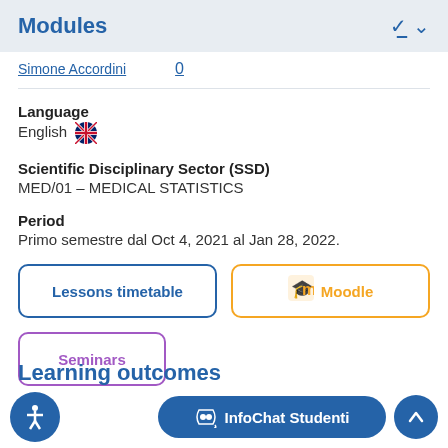Modules
Simone Accordini  0
Language
English 🇬🇧
Scientific Disciplinary Sector (SSD)
MED/01 – MEDICAL STATISTICS
Period
Primo semestre dal Oct 4, 2021 al Jan 28, 2022.
Lessons timetable
Moodle
Seminars
InfoChat Studenti
Learning outcomes